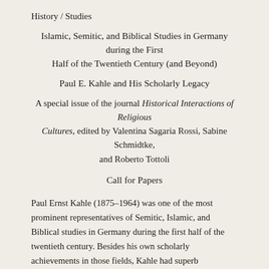History / Studies
Islamic, Semitic, and Biblical Studies in Germany during the First Half of the Twentieth Century (and Beyond)
Paul E. Kahle and His Scholarly Legacy
A special issue of the journal Historical Interactions of Religious Cultures, edited by Valentina Sagaria Rossi, Sabine Schmidtke, and Roberto Tottoli
Call for Papers
Paul Ernst Kahle (1875–1964) was one of the most prominent representatives of Semitic, Islamic, and Biblical studies in Germany during the first half of the twentieth century. Besides his own scholarly achievements in those fields, Kahle had superb organizational skills and a unique ability to collaborate and foster collaborations. During the 1920 and 1930 scholars he...